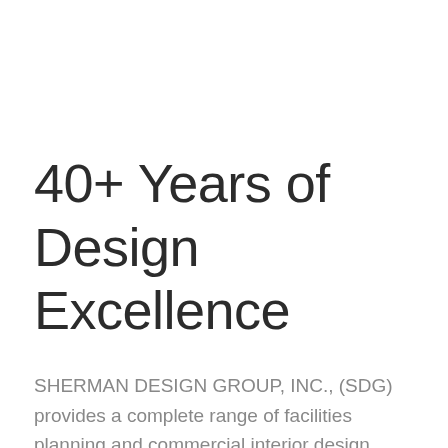40+ Years of Design Excellence
SHERMAN DESIGN GROUP, INC., (SDG) provides a complete range of facilities planning and commercial interior design services, and has done so since 1984.
Planning and organizing the built environment combines several disciplines of professional design services. Facilities planning and commercial...